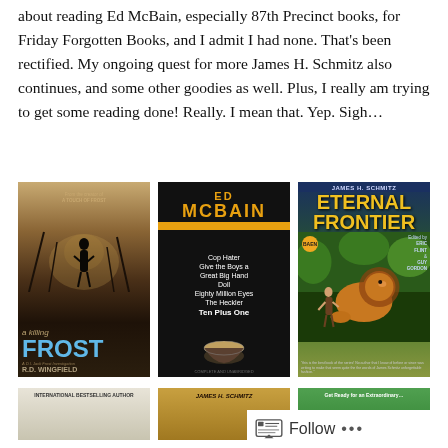about reading Ed McBain, especially 87th Precinct books, for Friday Forgotten Books, and I admit I had none. That's been rectified. My ongoing quest for more James H. Schmitz also continues, and some other goodies as well. Plus, I really am trying to get some reading done! Really. I mean that. Yep. Sigh…
[Figure (photo): Book cover: 'A Killing Frost' by R.D. Wingfield — dark atmospheric cover with silhouette of a man in fog, blue title text]
[Figure (photo): Book cover: Ed McBain omnibus in black with gold text, listing: Cop Hater, Give the Boys a Great Big Hand, Doll, Eighty Million Eyes, The Heckler, Ten Plus One]
[Figure (photo): Book cover: 'Eternal Frontier' by James H. Schmitz, edited by Eric Flint & Guy Gordon — fantasy/sci-fi cover with creature and tropical setting]
[Figure (photo): Partial book cover: International Bestselling Author — green/beige toned cover, bottom portion visible]
[Figure (photo): Partial book cover: James H. Schmitz — gold/brown toned cover, bottom portion visible]
[Figure (photo): Partial book cover: green cover with text partially visible, bottom portion]